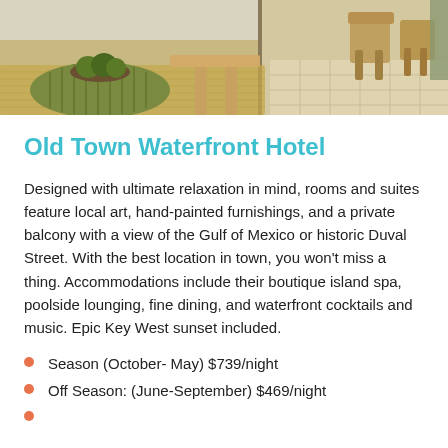[Figure (photo): Interior photo of a hotel room showing wooden furniture, a sisal rug, fruit bowl, and outdoor terrace view with tiled floor]
Old Town Waterfront Hotel
Designed with ultimate relaxation in mind, rooms and suites feature local art, hand-painted furnishings, and a private balcony with a view of the Gulf of Mexico or historic Duval Street. With the best location in town, you won't miss a thing. Accommodations include their boutique island spa, poolside lounging, fine dining, and waterfront cocktails and music. Epic Key West sunset included.
Season (October- May) $739/night
Off Season: (June-September) $469/night